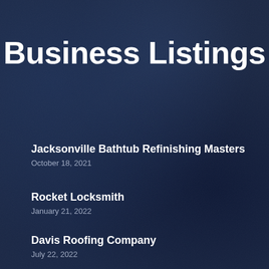Business Listings
Jacksonville Bathtub Refinishing Masters
October 18, 2021
Rocket Locksmith
January 21, 2022
Davis Roofing Company
July 22, 2022